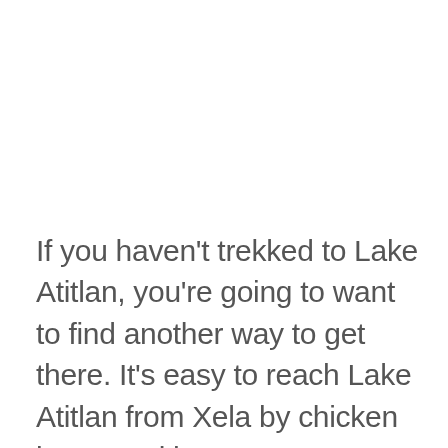If you haven't trekked to Lake Atitlan, you're going to want to find another way to get there. It's easy to reach Lake Atitlan from Xela by chicken bus – and here's your chance to see something that makes Guatemala famous! You'll need to take 2, maybe 3 buses to reach Panajachel from Xela. There is also a direct bus to San Pedro, but I've heard